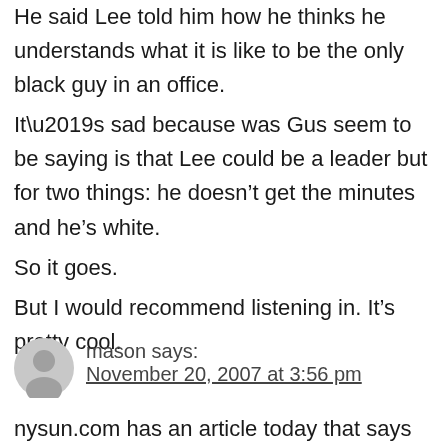He said Lee told him how he thinks he understands what it is like to be the only black guy in an office.
It’s sad because was Gus seem to be saying is that Lee could be a leader but for two things: he doesn’t get the minutes and he’s white.
So it goes.
But I would recommend listening in. It’s pretty cool.
mason says:
November 20, 2007 at 3:56 pm
nysun.com has an article today that says